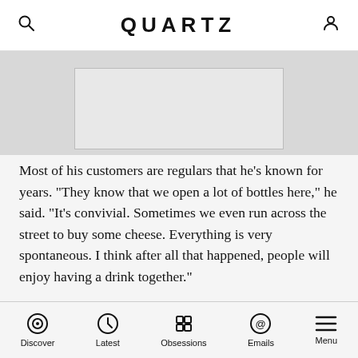QUARTZ
[Figure (photo): Partial image visible at top of article, mostly gray placeholder]
Most of his customers are regulars that he’s known for years. “They know that we open a lot of bottles here,” he said. “It’s convivial. Sometimes we even run across the street to buy some cheese. Everything is very spontaneous. I think after all that happened, people will enjoy having a drink together.”
The Beaujolais Nouveau phenomenon began in 1951 when winemakers were for the first time authorized to sell a portion of the latest harvest immediately rather than waiting years for it to age. Today, Beaujolais
Discover  Latest  Obsessions  Emails  Menu